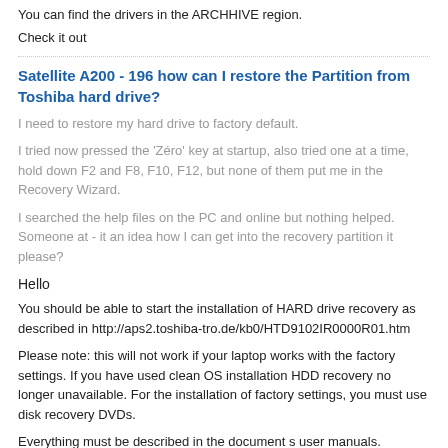You can find the drivers in the ARCHHIVE region.
Check it out
Satellite A200 - 196 how can I restore the Partition from Toshiba hard drive?
I need to restore my hard drive to factory default.
I tried now pressed the 'Zéro' key at startup, also tried one at a time, hold down F2 and F8, F10, F12, but none of them put me in the Recovery Wizard.
I searched the help files on the PC and online but nothing helped. Someone at - it an idea how I can get into the recovery partition it please?
Hello
You should be able to start the installation of HARD drive recovery as described in http://aps2.toshiba-tro.de/kb0/HTD9102IR0000R01.htm
Please note: this will not work if your laptop works with the factory settings. If you have used clean OS installation HDD recovery no longer unavailable. For the installation of factory settings, you must use disk recovery DVDs.
Everything must be described in the document s user manuals.
Reinstall the CS6 after reformat hard drive
I see my serial number in my products and services - how to re